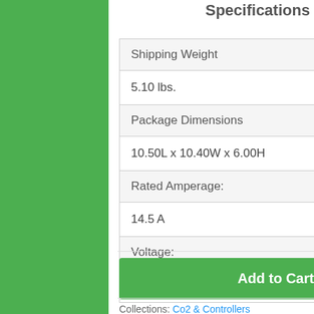Specifications
| Shipping Weight |
| 5.10 lbs. |
| Package Dimensions |
| 10.50L x 10.40W x 6.00H |
| Rated Amperage: |
| 14.5 A |
| Voltage: |
| 120 V |
Add to Cart
Collections: Co2 & Controllers